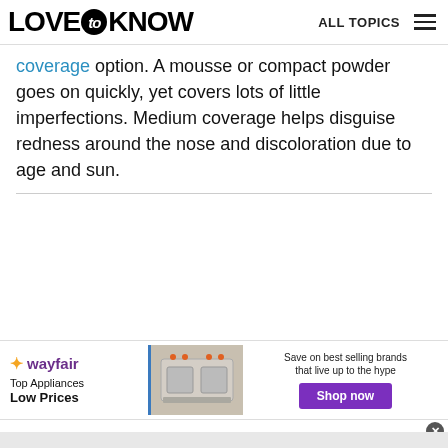LOVE to KNOW   ALL TOPICS
coverage option. A mousse or compact powder goes on quickly, yet covers lots of little imperfections. Medium coverage helps disguise redness around the nose and discoloration due to age and sun.
[Figure (screenshot): Wayfair advertisement banner: Top Appliances Low Prices, with stove image and Shop now button]